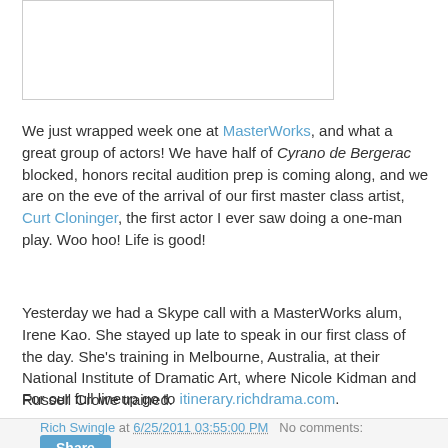[Figure (photo): White image placeholder with light gray border]
We just wrapped week one at MasterWorks, and what a great group of actors! We have half of Cyrano de Bergerac blocked, honors recital audition prep is coming along, and we are on the eve of the arrival of our first master class artist, Curt Cloninger, the first actor I ever saw doing a one-man play. Woo hoo! Life is good!
Yesterday we had a Skype call with a MasterWorks alum, Irene Kao. She stayed up late to speak in our first class of the day. She's training in Melbourne, Australia, at their National Institute of Dramatic Art, where Nicole Kidman and Russell Crowe trained.
For our full lineup go to itinerary.richdrama.com.
Rich Swingle at 6/25/2011 03:55:00 PM   No comments:   Share